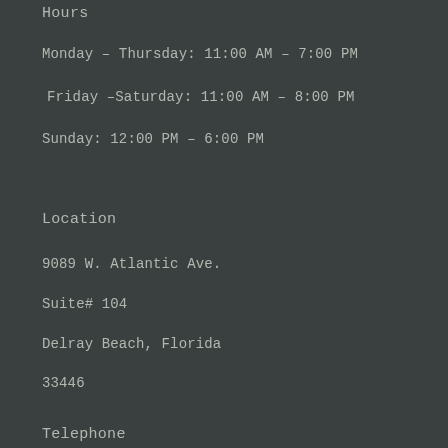Hours
Monday – Thursday: 11:00 AM – 7:00 PM
Friday –Saturday: 11:00 AM – 8:00 PM
Sunday: 12:00 PM – 6:00 PM
Location
9089 W. Atlantic Ave.
Suite# 104
Delray Beach, Florida
33446
Telephone